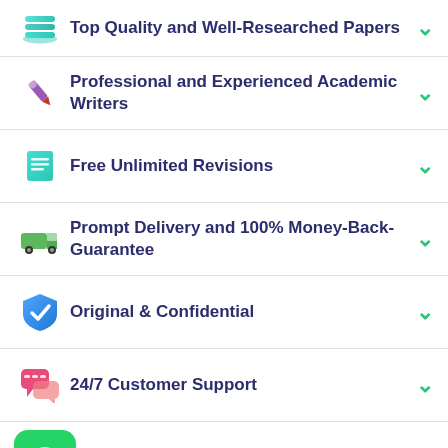Top Quality and Well-Researched Papers
Professional and Experienced Academic Writers
Free Unlimited Revisions
Prompt Delivery and 100% Money-Back-Guarantee
Original & Confidential
24/7 Customer Support
[Figure (logo): WhatsApp green button icon]